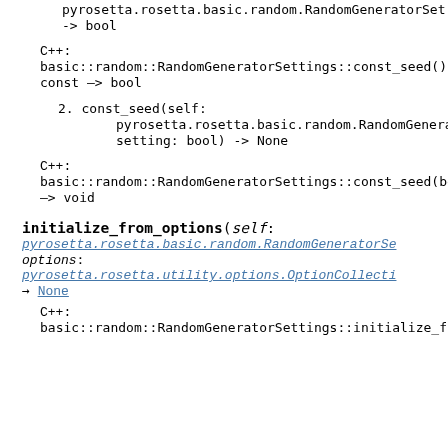pyrosetta.rosetta.basic.random.RandomGeneratorSet
-> bool
C++:
basic::random::RandomGeneratorSettings::const_seed() const -> bool
2. const_seed(self: pyrosetta.rosetta.basic.random.RandomGeneratorSet
setting: bool) -> None
C++:
basic::random::RandomGeneratorSettings::const_seed(bool)
-> void
initialize_from_options(self: pyrosetta.rosetta.basic.random.RandomGeneratorSe options: pyrosetta.rosetta.utility.options.OptionCollecti -> None
C++:
basic::random::RandomGeneratorSettings::initialize_from_o